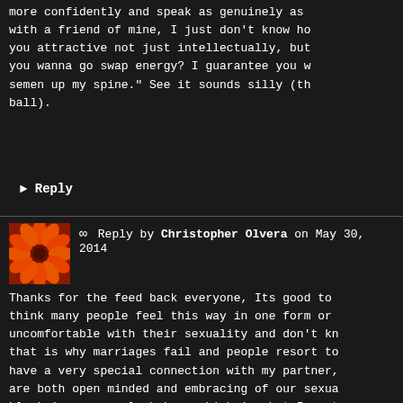more confidently and speak as genuinely as with a friend of mine, I just don't know ho you attractive not just intellectually, but you wanna go swap energy? I guarantee you w semen up my spine." See it sounds silly (th ball).
► Reply
∞ Reply by Christopher Olvera on May 30, 2014
[Figure (photo): Orange flower avatar thumbnail for Christopher Olvera]
Thanks for the feed back everyone, Its good to think many people feel this way in one form or uncomfortable with their sexuality and don't kn that is why marriages fail and people resort to have a very special connection with my partner, are both open minded and embracing of our sexua block in my sacral chakra. which is what I want necking of the flow. When I was younger I was n appearance and I had a lot of repressed sexuali my beauty sleep, equipped with a fresh look du feel sexy haha. But truth be told I'm still shy want to foster a real relationship, to make a r superficial.